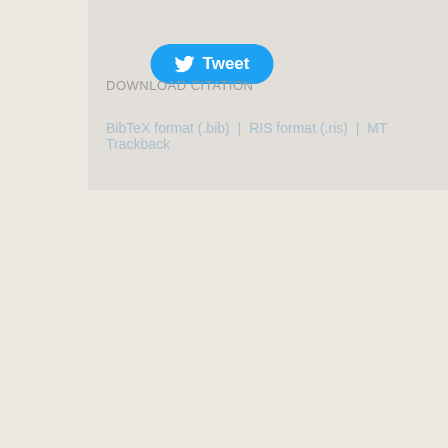[Figure (other): Twitter Tweet button with bird icon, blue rounded rectangle]
DOWNLOAD CITATION
BibTeX format (.bib) | RIS format (.ris) | MT Trackback